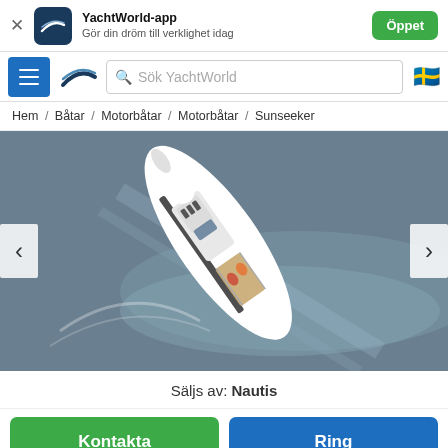YachtWorld-app — Gör din dröm till verklighet idag
Sök YachtWorld
Hem / Båtar / Motorbåtar / Motorbåtar / Sunseeker
[Figure (photo): Aerial view of a white Sunseeker motorboat speeding on water, viewed from above at an angle]
Säljs av: Nautis
Kontakta
Ring